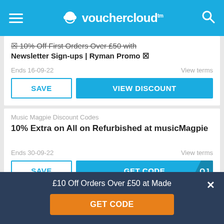vouchercloud
10% Off First Orders Over £50 with Newsletter Sign-ups | Ryman Promo
Ends 16-09-22
View terms
SAVE
VIEW DISCOUNT
Music Magpie Discount Codes
10% Extra on All on Refurbished at musicMagpie
Ends 30-09-22
View terms
SAVE
GET CODE
£10 Off Orders Over £50 at Made
GET CODE